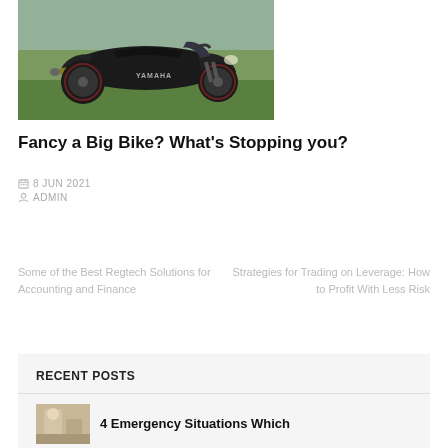[Figure (photo): Black Yamaha sports motorcycle (R1) parked on grass, side view]
Fancy a Big Bike? What's Stopping you?
8 JUN 2021
ADMIN
Some of the Best Regtech Solutions for Accounting and Finance
Strategies for Trading on Leverage: How to Profit With Less Risk
RECENT POSTS
[Figure (photo): Thumbnail image for recent post, person in professional setting]
4 Emergency Situations Which